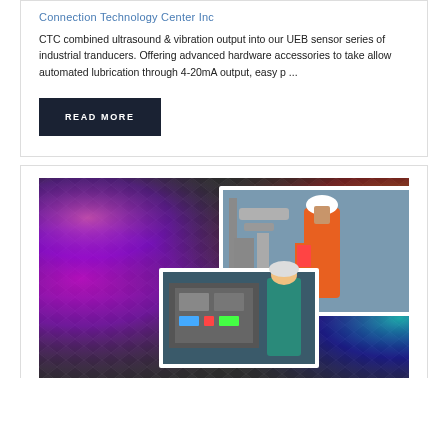Connection Technology Center Inc
CTC combined ultrasound & vibration output into our UEB sensor series of industrial tranducers. Offering advanced hardware accessories to take allow automated lubrication through 4-20mA output, easy p ...
READ MORE
[Figure (photo): Industrial maintenance composite image on diamond-plate textured background with colorful light swirls. Shows two workers: one in orange safety suit and white hard hat inspecting industrial equipment, another in teal jacket at a control panel.]